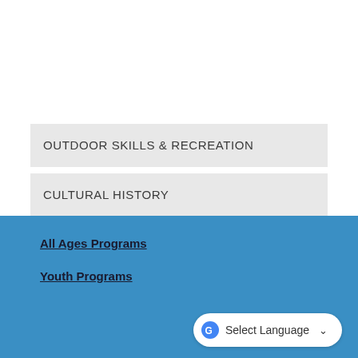OUTDOOR SKILLS & RECREATION
CULTURAL HISTORY
PRINTABLE FLYER
All Ages Programs
Youth Programs